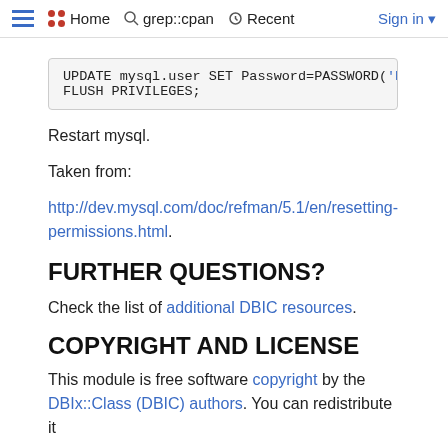Home  grep::cpan  Recent  Sign in
UPDATE mysql.user SET Password=PASSWORD('My
FLUSH PRIVILEGES;
Restart mysql.
Taken from:
http://dev.mysql.com/doc/refman/5.1/en/resetting-permissions.html.
FURTHER QUESTIONS?
Check the list of additional DBIC resources.
COPYRIGHT AND LICENSE
This module is free software copyright by the DBIx::Class (DBIC) authors. You can redistribute it